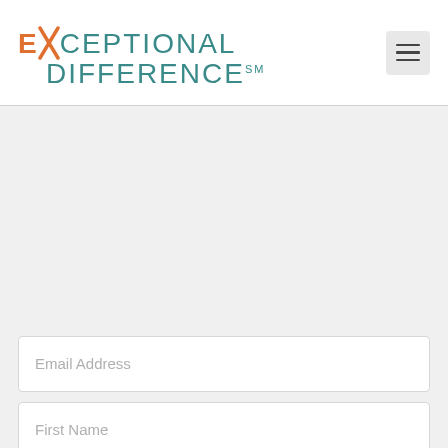[Figure (logo): Exceptional Difference logo with orange X accent and teal text, with hamburger menu icon in top right]
Email Address
First Name